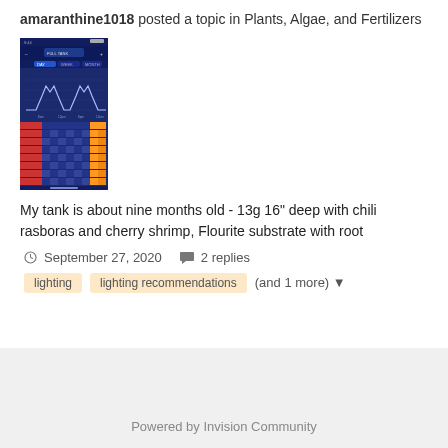amaranthine1018 posted a topic in Plants, Algae, and Fertilizers
[Figure (screenshot): Screenshot of an aquarium lighting app showing a graph with peaks and a colorful schedule grid on a dark blue background]
My tank is about nine months old - 13g 16" deep with chili rasboras and cherry shrimp, Flourite substrate with root
September 27, 2020   2 replies
lighting
lighting recommendations
(and 1 more)
Powered by Invision Community